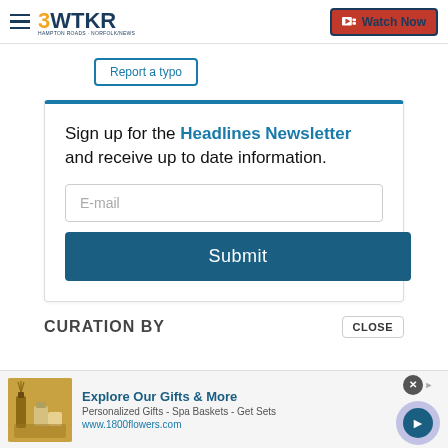3WTKR | Watch Now
Report a typo
Sign up for the Headlines Newsletter and receive up to date information.
E-mail
Submit
CURATION BY
CLOSE
Explore Our Gifts & More
Personalized Gifts - Spa Baskets - Get Sets
www.1800flowers.com